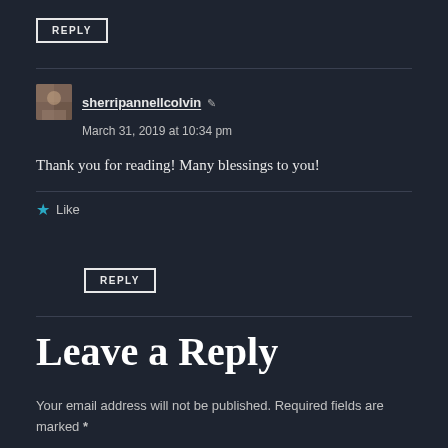REPLY
sherripannellcolvin
March 31, 2019 at 10:34 pm

Thank you for reading! Many blessings to you!

Like
REPLY
Leave a Reply
Your email address will not be published. Required fields are marked *